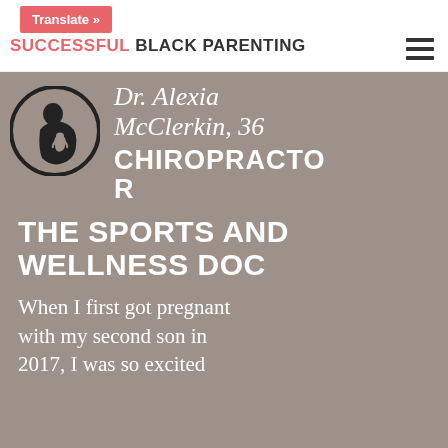Translate » SUCCESSFUL BLACK PARENTING
[Figure (logo): Circular logo with black silhouette of pregnant woman and fetus icon]
Dr. Alexia McClerkin, 36
CHIROPRACTOR
THE SPORTS AND WELLNESS DOC
When I first got pregnant with my second son in 2017, I was so excited